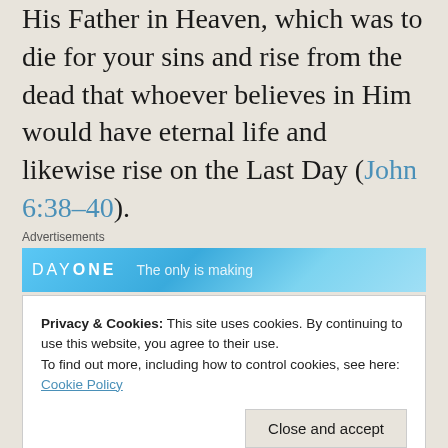His Father in Heaven, which was to die for your sins and rise from the dead that whoever believes in Him would have eternal life and likewise rise on the Last Day (John 6:38–40).
[Figure (other): Advertisements banner showing 'DAY ONE' logo on a blue background with partial text 'The only is making']
That is Jesus' will. What does this have to do with socialism or any other political matter?
Privacy & Cookies: This site uses cookies. By continuing to use this website, you agree to their use.
To find out more, including how to control cookies, see here:
Cookie Policy
Close and accept
Commitment and proclaim His name. Amen,